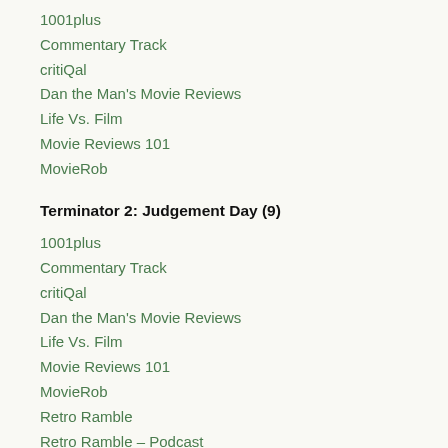1001plus
Commentary Track
critiQal
Dan the Man's Movie Reviews
Life Vs. Film
Movie Reviews 101
MovieRob
Terminator 2: Judgement Day (9)
1001plus
Commentary Track
critiQal
Dan the Man's Movie Reviews
Life Vs. Film
Movie Reviews 101
MovieRob
Retro Ramble
Retro Ramble – Podcast
Terminator 3: Rise of the Machines (2)